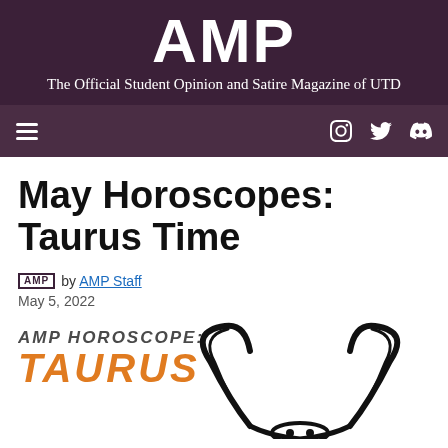AMP — The Official Student Opinion and Satire Magazine of UTD
May Horoscopes: Taurus Time
AMP by AMP Staff
May 5, 2022
[Figure (illustration): AMP Horoscope: Taurus graphic with italic bold text and a Taurus bull horns illustration in black line art]